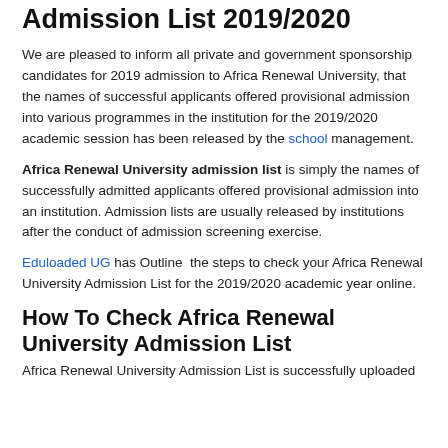Admission List 2019/2020
We are pleased to inform all private and government sponsorship candidates for 2019 admission to Africa Renewal University, that the names of successful applicants offered provisional admission into various programmes in the institution for the 2019/2020 academic session has been released by the school management.
Africa Renewal University admission list is simply the names of successfully admitted applicants offered provisional admission into an institution. Admission lists are usually released by institutions after the conduct of admission screening exercise.
Eduloaded UG has Outline  the steps to check your Africa Renewal University Admission List for the 2019/2020 academic year online.
How To Check Africa Renewal University Admission List
Africa Renewal University Admission List is successfully uploaded